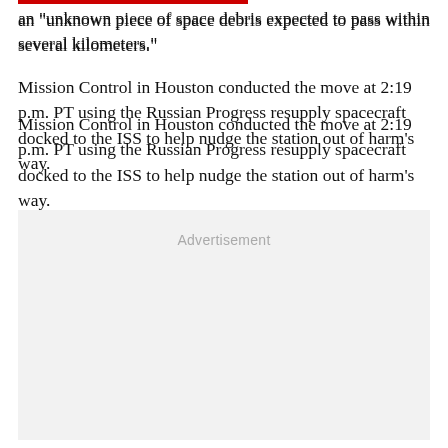an "unknown piece of space debris expected to pass within several kilometers."
Mission Control in Houston conducted the move at 2:19 p.m. PT using the Russian Progress resupply spacecraft docked to the ISS to help nudge the station out of harm's way.
[Figure (other): Advertisement placeholder box with grey background and 'Advertisement' label text]